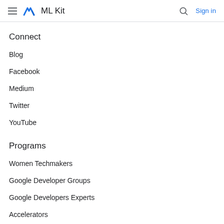ML Kit — Sign in
Connect
Blog
Facebook
Medium
Twitter
YouTube
Programs
Women Techmakers
Google Developer Groups
Google Developers Experts
Accelerators